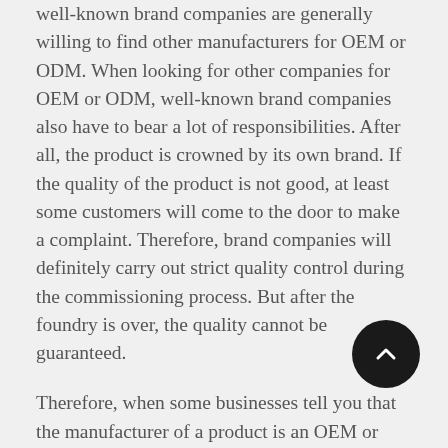well-known brand companies are generally willing to find other manufacturers for OEM or ODM. When looking for other companies for OEM or ODM, well-known brand companies also have to bear a lot of responsibilities. After all, the product is crowned by its own brand. If the quality of the product is not good, at least some customers will come to the door to make a complaint. Therefore, brand companies will definitely carry out strict quality control during the commissioning process. But after the foundry is over, the quality cannot be guaranteed.
Therefore, when some businesses tell you that the manufacturer of a product is an OEM or ODM product of a major brand, never believe that its quality is equivalent to that brand. The only thing you can believe is that manufacturer has a certain production capacity.
ODM What is to be the best solution provided for